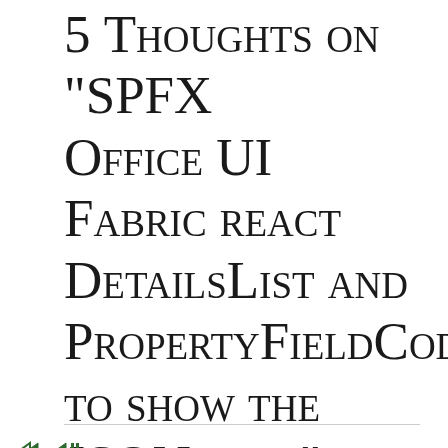5 Thoughts on "SPFx Office UI Fabric react DetailsList and PropertyFieldCodeEditor to show the JSON data"
Privacy & Cookies: This site uses cookies. By continuing to use this website, you agree to their use. To find out more, including how to control cookies, see here: Cookie Policy